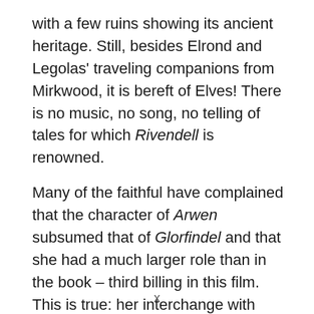with a few ruins showing its ancient heritage. Still, besides Elrond and Legolas' traveling companions from Mirkwood, it is bereft of Elves! There is no music, no song, no telling of tales for which Rivendell is renowned.
Many of the faithful have complained that the character of Arwen subsumed that of Glorfindel and that she had a much larger role than in the book – third billing in this film. This is true: her interchange with Strider (Aragorn) is not played out until the Appendix at the end of the third book, where there is a beautiful and sad tale told. She certainly plays a more warrior-like role
x